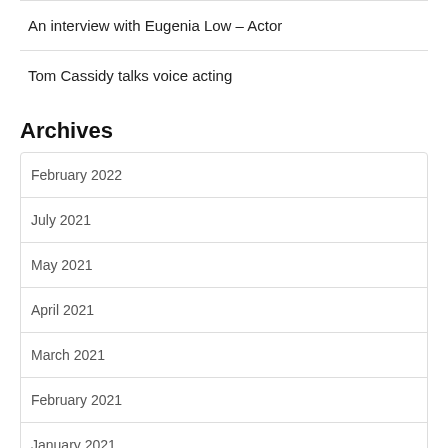An interview with Eugenia Low – Actor
Tom Cassidy talks voice acting
Archives
February 2022
July 2021
May 2021
April 2021
March 2021
February 2021
January 2021